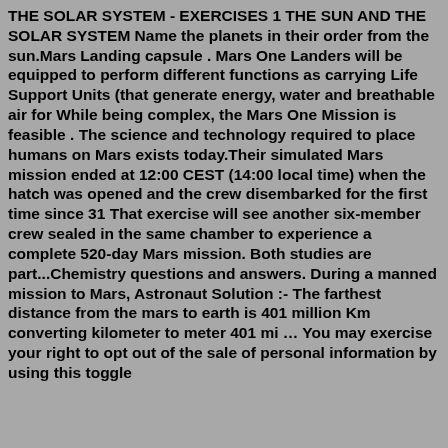THE SOLAR SYSTEM - EXERCISES 1 THE SUN AND THE SOLAR SYSTEM Name the planets in their order from the sun.Mars Landing capsule . Mars One Landers will be equipped to perform different functions as carrying Life Support Units (that generate energy, water and breathable air for While being complex, the Mars One Mission is feasible . The science and technology required to place humans on Mars exists today.Their simulated Mars mission ended at 12:00 CEST (14:00 local time) when the hatch was opened and the crew disembarked for the first time since 31 That exercise will see another six-member crew sealed in the same chamber to experience a complete 520-day Mars mission. Both studies are part...Chemistry questions and answers. During a manned mission to Mars, Astronaut Solution :- The farthest distance from the mars to earth is 401 million Km converting kilometer to meter 401 mi … You may exercise your right to opt out of the sale of personal information by using this toggle